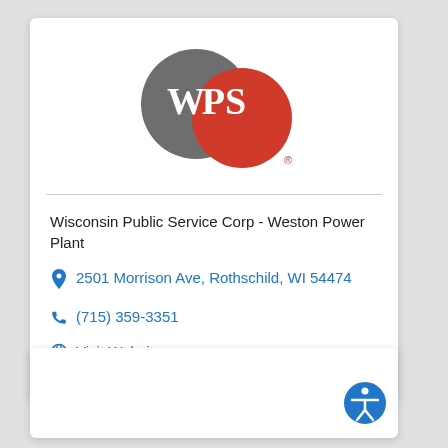[Figure (logo): WPS logo — two overlapping circles, grey and red, with white letters W P S]
Wisconsin Public Service Corp - Weston Power Plant
2501 Morrison Ave, Rothschild, WI 54474
(715) 359-3351
Visit Website